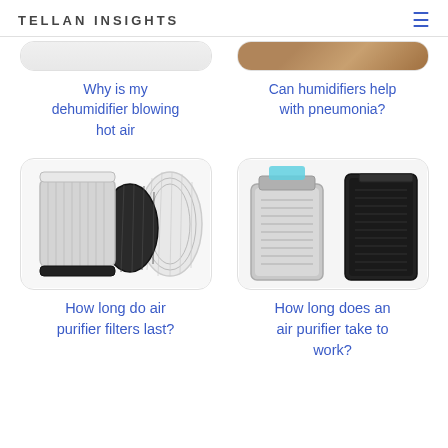TELLAN INSIGHTS
Why is my dehumidifier blowing hot air
Can humidifiers help with pneumonia?
[Figure (photo): HEPA air purifier filter set with multiple filter types]
How long do air purifier filters last?
[Figure (photo): Two air purifier units side by side, one silver and one black]
How long does an air purifier take to work?